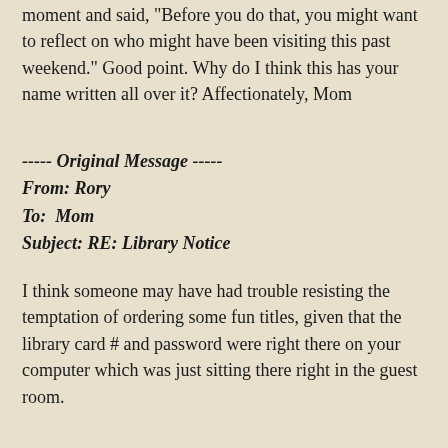moment and said, "Before you do that, you might want to reflect on who might have been visiting this past weekend." Good point. Why do I think this has your name written all over it? Affectionately, Mom
----- Original Message -----
From: Rory
To:  Mom
Subject: RE: Library Notice
I think someone may have had trouble resisting the temptation of ordering some fun titles, given that the library card # and password were right there on your computer which was just sitting there right in the guest room.
---- Original Message -----
From: Mom
To: Rory
Subject: Fw: Library Notice
Rory – For the record, my password was not posted on my computer, just the library card number.  But as soon as you